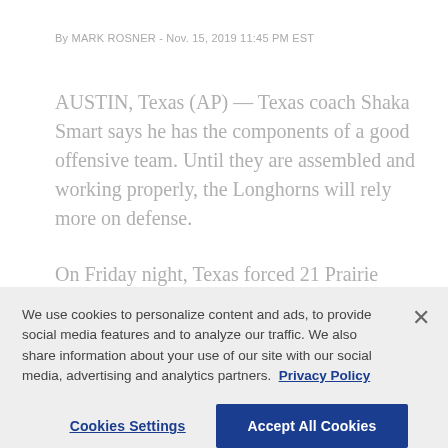By MARK ROSNER - Nov. 15, 2019 11:45 PM EST
AUSTIN, Texas (AP) — Texas coach Shaka Smart says he has the components of a good offensive team. Until they are assembled and working properly, the Longhorns will rely more on defense.
On Friday night, Texas forced 21 Prairie View A&M turnovers and limited Chancellor Ellis, a dangerous shooter, to two 3-point baskets while defeating the Panther 70-56.
We use cookies to personalize content and ads, to provide social media features and to analyze our traffic. We also share information about your use of our site with our social media, advertising and analytics partners. Privacy Policy
Cookies Settings | Accept All Cookies